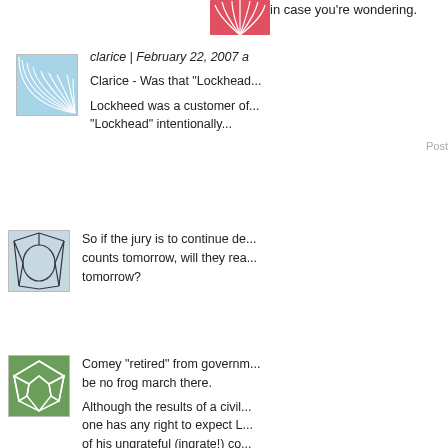in case you're wondering.
[Figure (illustration): Red abstract fan/leaf avatar icon]
clarice | February 22, 2007 a
Clarice - Was that "Lockhead...
Lockheed was a customer of... "Lockhead" intentionally...
Post
[Figure (illustration): Blue/grey abstract network lines avatar icon]
So if the jury is to continue de... counts tomorrow, will they rea... tomorrow?
[Figure (illustration): Green voronoi/cells pattern avatar icon]
Comey "retired" from governm... be no frog march there.
Although the results of a civil... one has any right to expect L... of his ungrateful (ingrate!) co...